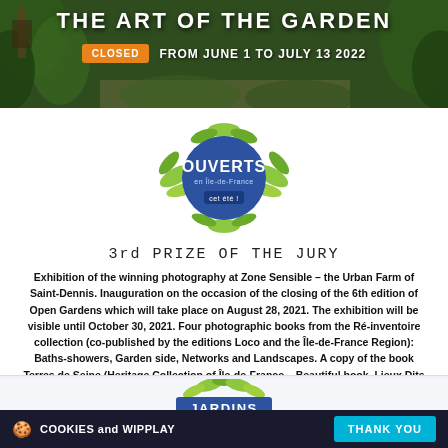[Figure (photo): Garden/outdoor background banner with green foliage and lantern]
THE ART OF THE GARDEN
CLOSED   FROM JUNE 1 TO JULY 13 2022
[Figure (logo): OUVERTS en Île-de-France cet été logo with green leaf decorations]
3rd PRIZE OF THE JURY
Exhibition of the winning photography at Zone Sensible – the Urban Farm of Saint-Dennis. Inauguration on the occasion of the closing of the 6th edition of Open Gardens which will take place on August 28, 2021. The exhibition will be visible until October 30, 2021. Four photographic books from the Ré-inventoire collection (co-published by the editions Loco and the Île-de-France Region): Baths-showers, Garden side, Networks and Landscapes. A copy of the book Terres de Seine (Heritage Collection of Île-de-France – Beautiful book, Lieux Dits editions)
[Figure (logo): JARDINS logo partially visible at bottom]
🍪 COOKIES and WIPPLAY   THANK YOU
By surfing on WIPPLAY, you let us use cookies to aggregate statistics and improve your navigation for a better future. see the charter